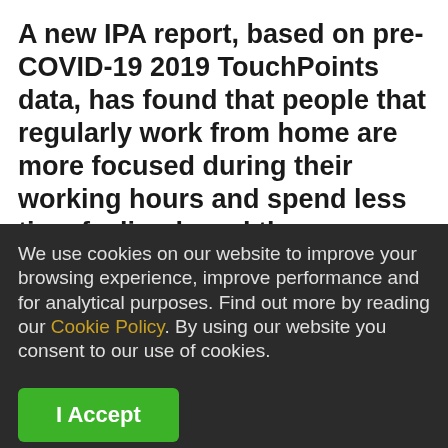A new IPA report, based on pre-COVID-19 2019 TouchPoints data, has found that people that regularly work from home are more focused during their working hours and spend less time feeling bored than
We use cookies on our website to improve your browsing experience, improve performance and for analytical purposes. Find out more by reading our Cookie Policy. By using our website you consent to our use of cookies.